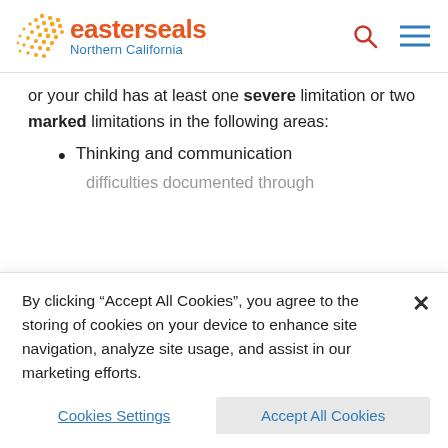[Figure (logo): Easterseals Northern California logo with orange dot pattern, orange 'easterseals' text, and blue 'Northern California' text]
or your child has at least one severe limitation or two marked limitations in the following areas:
Thinking and communication
difficulties documented through
By clicking “Accept All Cookies”, you agree to the storing of cookies on your device to enhance site navigation, analyze site usage, and assist in our marketing efforts.
Cookies Settings
Accept All Cookies